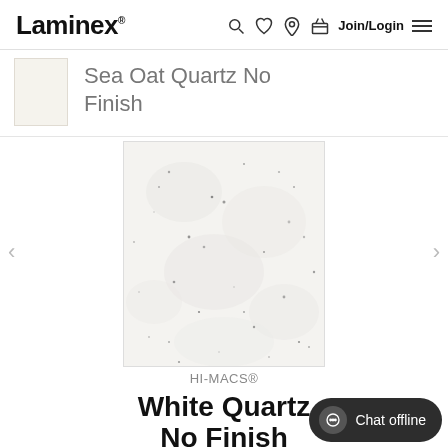Laminex
Sea Oat Quartz  No Finish
[Figure (photo): Close-up photo of Sea Oat Quartz No Finish surface — white/off-white background with scattered grey and dark speckles, resembling a quartz stone texture.]
HI-MACS®
White Quartz No Finish